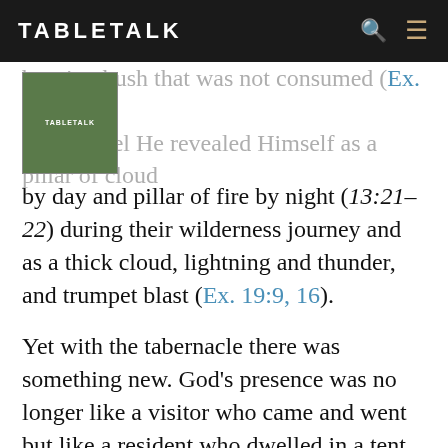TABLETALK
burning bush that was not consumed (Ex. 3:2). And to all Israel He revealed Himself as a pillar of cloud by day and pillar of fire by night (13:21–22) during their wilderness journey and as a thick cloud, lightning and thunder, and trumpet blast (Ex. 19:9, 16).
Yet with the tabernacle there was something new. God's presence was no longer like a visitor who came and went but like a resident who dwelled in a tent just as they did, in their midst. The tabernacle was His kingly house, then, complete with a door in the veil, curtains that covered it, a table with bread, a lamp for light, and the ark as His royal footstool